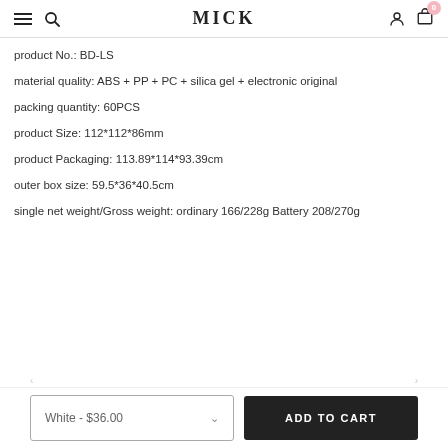MICK
product No.: BD-LS
material quality: ABS + PP + PC + silica gel + electronic original
packing quantity: 60PCS
product Size: 112*112*86mm
product Packaging: 113.89*114*93.39cm
outer box size: 59.5*36*40.5cm
single net weight/Gross weight: ordinary 166/228g Battery 208/270g
White - $36.00   ADD TO CART